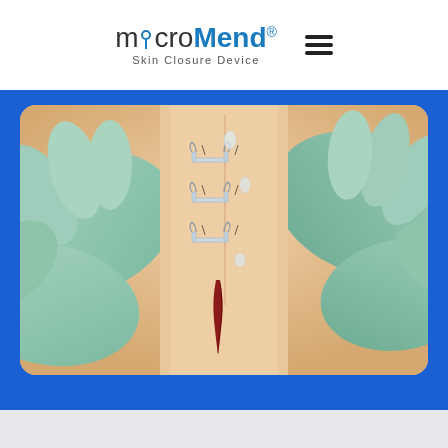[Figure (logo): microMend logo with tagline 'Skin Closure Device' and hamburger menu icon]
[Figure (photo): Close-up photo of gloved hands (teal/light green surgical gloves) applying microMend skin closure device staples to a wound on skin-toned surface. Multiple metal staple-like closures are shown along a vertical incision, with the lower portion of the wound still open, showing red/dark tissue. The device is being applied on a medical training model.]